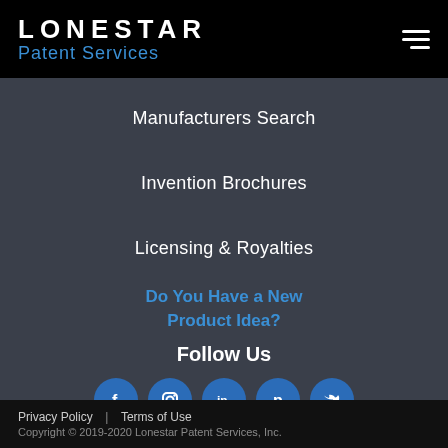LONESTAR Patent Services
Manufacturers Search
Invention Brochures
Licensing & Royalties
Do You Have a New Product Idea?
Follow Us
[Figure (infographic): Social media icons: Facebook, Instagram, LinkedIn, Pinterest, Twitter]
Privacy Policy  |  Terms of Use
Copyright © 2019-2020 Lonestar Patent Services, Inc.